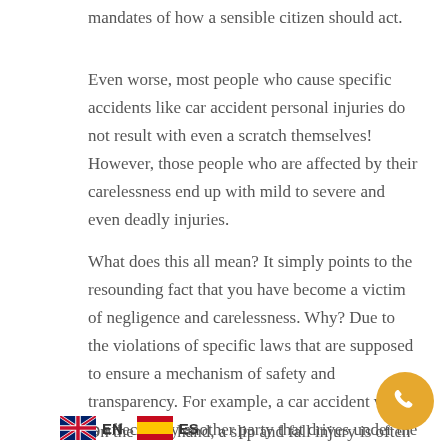mandates of how a sensible citizen should act.
Even worse, most people who cause specific accidents like car accident personal injuries do not result with even a scratch themselves! However, those people who are affected by their carelessness end up with mild to severe and even deadly injuries.
What does this all mean? It simply points to the resounding fact that you have become a victim of negligence and carelessness. Why? Due to the violations of specific laws that are supposed to ensure a mechanism of safety and transparency. For example, a car accident victim is affected by another party that drives under the influence or in a reckless manner.
On the other hand, a slip and fall injury is often